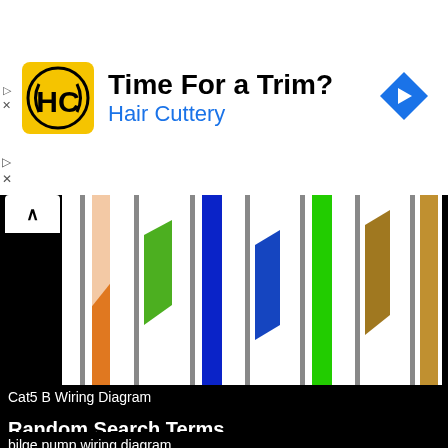[Figure (illustration): Advertisement banner for Hair Cuttery with yellow logo, headline 'Time For a Trim?', subtext 'Hair Cuttery' in blue, and a blue navigation arrow icon on the right.]
[Figure (schematic): Cat5 B wiring diagram showing colored wire pairs in an Ethernet connector: orange, green, blue, green, orange (with white stripe pairs), brown wires arranged vertically.]
Cat5 B Wiring Diagram
Random Search Terms
bilge pump wiring diagram
single phase motor connection diagram
msd distributor wiring diagram
flasher wiring diagram